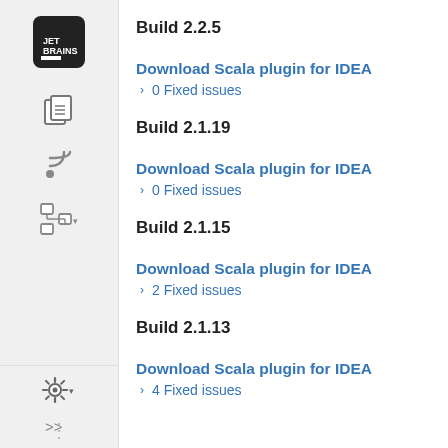Build 2.2.5
Download Scala plugin for IDEA
> 0 Fixed issues
Build 2.1.19
Download Scala plugin for IDEA
> 0 Fixed issues
Build 2.1.15
Download Scala plugin for IDEA
> 2 Fixed issues
Build 2.1.13
Download Scala plugin for IDEA
> 4 Fixed issues